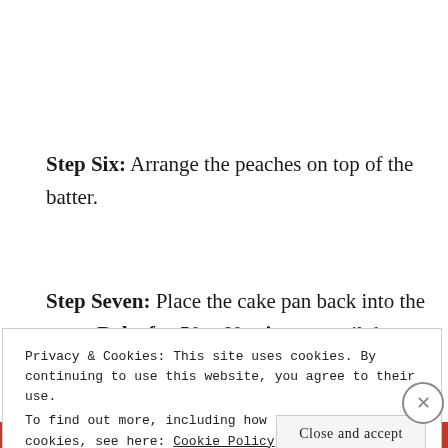Step Six: Arrange the peaches on top of the batter.
Step Seven: Place the cake pan back into the oven. Bake for 50 – 60 minutes until the batter
Privacy & Cookies: This site uses cookies. By continuing to use this website, you agree to their use.
To find out more, including how to control cookies, see here: Cookie Policy
Close and accept